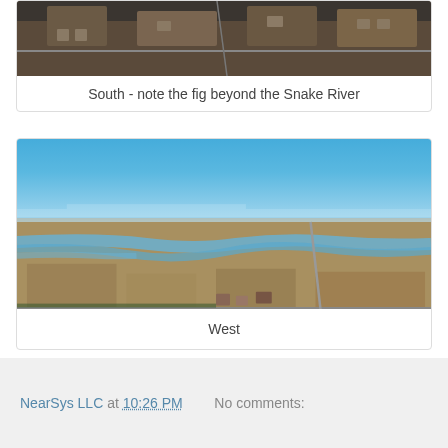[Figure (photo): Aerial photo looking south showing residential lots and fields beyond the Snake River]
South - note the fig beyond the Snake River
[Figure (photo): Aerial drone photo looking west showing a river winding through agricultural fields and residential areas under a blue sky]
West
NearSys LLC at 10:26 PM    No comments: